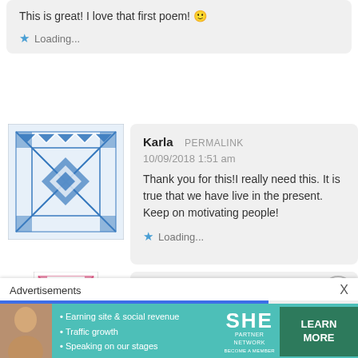This is great! I love that first poem! 🙂
Loading...
[Figure (illustration): Blue and white quilted square avatar pattern]
Karla PERMALINK
10/09/2018 1:51 am
Thank you for this!I really need this. It is true that we have live in the present. Keep on motivating people!
Loading...
[Figure (illustration): Pink and white quilted square avatar pattern]
Melissa Sanchez PERMALINK
10/09/2018 4:29 am
Advertisements
[Figure (infographic): SHE Partner Network advertisement with teal background, bullet points: Earning site & social revenue, Traffic growth, Speaking on our stages, with Learn More button]